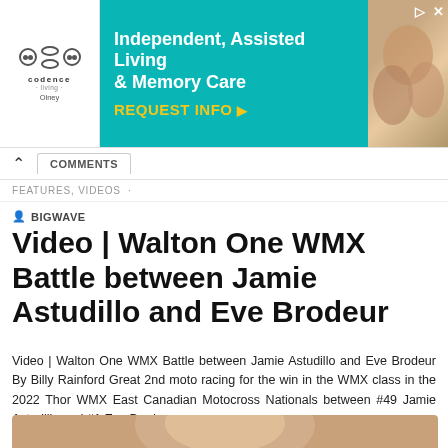[Figure (photo): Advertisement banner for Codence Living - Independent, Assisted Living & Memory Care in Olney. Teal/cyan background with white text and yellow CTA button. Logo on white left panel. Elderly couple photo on right.]
FEATURES, VIDEOS
BIGWAVE
Video | Walton One WMX Battle between Jamie Astudillo and Eve Brodeur
Video | Walton One WMX Battle between Jamie Astudillo and Eve Brodeur By Billy Rainford Great 2nd moto racing for the win in the WMX class in the 2022 Thor WMX East Canadian Motocross Nationals between #49 Jamie Astudillo and #1 Eve Brodeur.
[Figure (photo): Partial photo of a smiling person, cropped at bottom of page.]